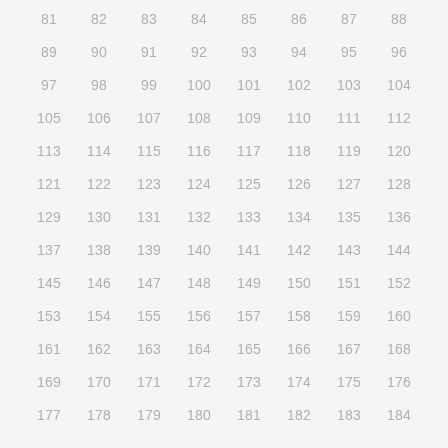81 82 83 84 85 86 87 88
89 90 91 92 93 94 95 96
97 98 99 100 101 102 103 104
105 106 107 108 109 110 111 112
113 114 115 116 117 118 119 120
121 122 123 124 125 126 127 128
129 130 131 132 133 134 135 136
137 138 139 140 141 142 143 144
145 146 147 148 149 150 151 152
153 154 155 156 157 158 159 160
161 162 163 164 165 166 167 168
169 170 171 172 173 174 175 176
177 178 179 180 181 182 183 184